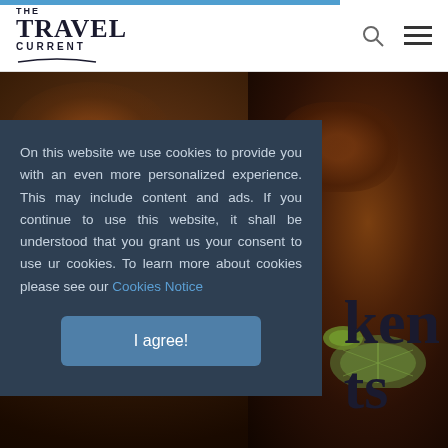THE TRAVEL CURRENT
[Figure (photo): Dark food photography showing roasted/grilled chicken pieces with lime slices and herbs on a dark background]
On this website we use cookies to provide you with an even more personalized experience. This may include content and ads. If you continue to use this website, it shall be understood that you grant us your consent to use ur cookies. To learn more about cookies please see our Cookies Notice
I agree!
ken ts